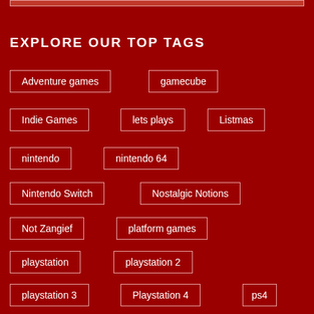EXPLORE OUR TOP TAGS
Adventure games
gamecube
Indie Games
lets plays
Listmas
nintendo
nintendo 64
Nintendo Switch
Nostalgic Notions
Not Zangief
platform games
playstation
playstation 2
playstation 3
Playstation 4
ps4
rareware
review
sony
square enix